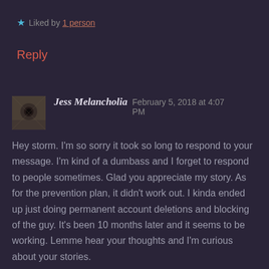★ Liked by 1 person
Reply
Jess Melancholia   February 5, 2018 at 4:07 PM
Hey storm. I'm so sorry it took so long to respond to your message. I'm kind of a dumbass and I forget to respond to people sometimes. Glad you appreciate my story. As for the prevention plan, it didn't work out. I kinda ended up just doing permanent account deletions and blocking of the guy. It's been 10 months later and it seems to be working. Lemme hear your thoughts and I'm curious about your stories.